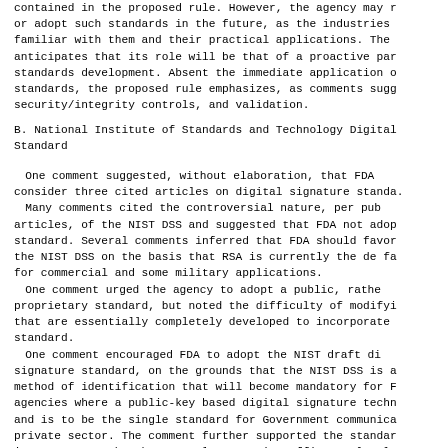contained in the proposed rule. However, the agency may r or adopt such standards in the future, as the industries familiar with them and their practical applications. The anticipates that its role will be that of a proactive par standards development. Absent the immediate application o standards, the proposed rule emphasizes, as comments sugg security/integrity controls, and validation.
B. National Institute of Standards and Technology Digital Standard
One comment suggested, without elaboration, that FDA consider three cited articles on digital signature standa. Many comments cited the controversial nature, per pub articles, of the NIST DSS and suggested that FDA not adop standard. Several comments inferred that FDA should favor the NIST DSS on the basis that RSA is currently the de fa for commercial and some military applications. One comment urged the agency to adopt a public, rathe proprietary standard, but noted the difficulty of modifyi that are essentially completely developed to incorporate standard. One comment encouraged FDA to adopt the NIST draft di signature standard, on the grounds that the NIST DSS is a method of identification that will become mandatory for F agencies where a public-key based digital signature techn and is to be the single standard for Government communica private sector. The comment further supported the standar its acceptance by the General Accounting Office as legal for Federal obligations. In addition, the comment assert